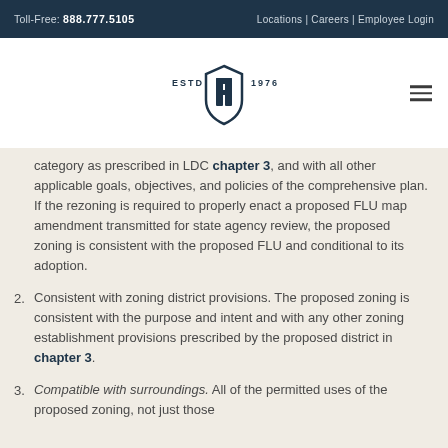Toll-Free: 888.777.5105   Locations | Careers | Employee Login
[Figure (logo): Company logo with ESTD 1976 text and stylized shield/initials emblem]
category as prescribed in LDC chapter 3, and with all other applicable goals, objectives, and policies of the comprehensive plan. If the rezoning is required to properly enact a proposed FLU map amendment transmitted for state agency review, the proposed zoning is consistent with the proposed FLU and conditional to its adoption.
2. Consistent with zoning district provisions. The proposed zoning is consistent with the purpose and intent and with any other zoning establishment provisions prescribed by the proposed district in chapter 3.
3. Compatible with surroundings. All of the permitted uses of the proposed zoning, not just those